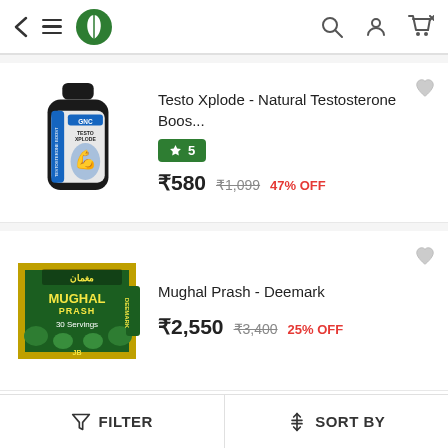Navigation bar with back, menu, logo, search, account, cart icons
[Figure (photo): Testo Xplode supplement bottle with blue label]
Testo Xplode - Natural Testosterone Boos...
★ 5
₹580  ₹1,099  47% OFF
[Figure (photo): Mughal Prash green box packaging by Deemark]
Mughal Prash - Deemark
₹2,550  ₹3,400  25% OFF
FILTER   SORT BY